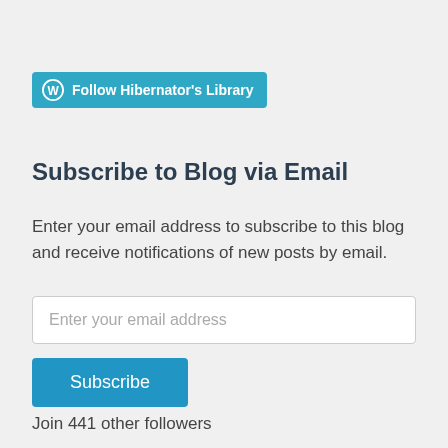[Figure (other): WordPress Follow button with teal background, WordPress logo icon, and text 'Follow Hibernator's Library']
Subscribe to Blog via Email
Enter your email address to subscribe to this blog and receive notifications of new posts by email.
[Figure (other): Email input field with placeholder text 'Enter your email address']
[Figure (other): Subscribe button in teal/blue color]
Join 441 other followers